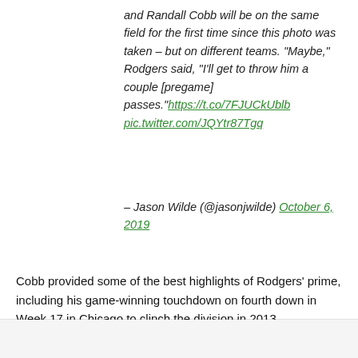and Randall Cobb will be on the same field for the first time since this photo was taken – but on different teams. "Maybe," Rodgers said, "I'll get to throw him a couple [pregame] passes."https://t.co/7FJUCkUblb pic.twitter.com/JQYtr87Tgq
– Jason Wilde (@jasonjwilde) October 6, 2019
Cobb provided some of the best highlights of Rodgers' prime, including his game-winning touchdown on fourth down in Week 17 in Chicago to clinch the division in 2013.